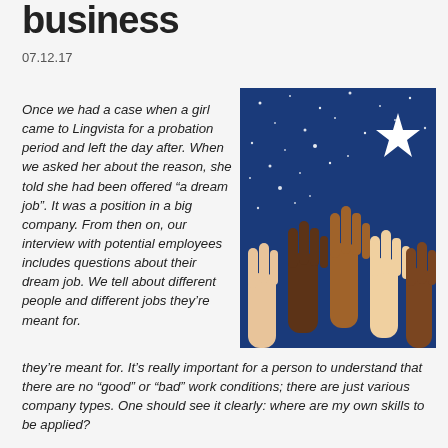business
07.12.17
Once we had a case when a girl came to Lingvista for a probation period and left the day after. When we asked her about the reason, she told she had been offered “a dream job”. It was a position in a big company. From then on, our interview with potential employees includes questions about their dream job. We tell about different people and different jobs they’re meant for. It’s really important for a person to understand that there are no “good” or “bad” work conditions; there are just various company types. One should see it clearly: where are my own skills to be applied?
[Figure (illustration): Illustration of diverse hands reaching up toward a bright white star against a dark blue night sky with small white stars scattered throughout.]